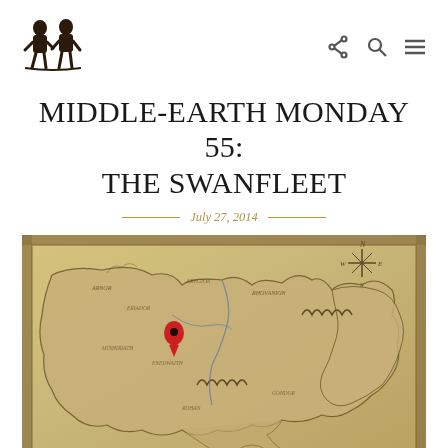[Figure (logo): Black and white woodcut-style logo showing two figures]
MIDDLE-EARTH MONDAY 55: THE SWANFLEET
July 27, 2014
[Figure (map): A parchment-colored map of Middle-earth with a red location pin marker in the central-western region (near the Swanfleet area). The map shows coastlines, mountains, rivers, and place names in a Tolkien-style cartographic style with decorative border.]